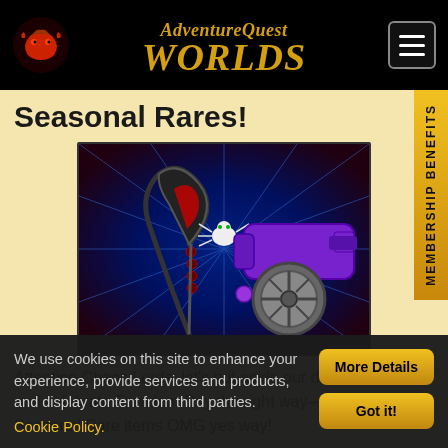AdventureQuest Worlds
Seasonal Rares!
[Figure (screenshot): Game artwork showing a dark scythe weapon with red accents and a purple cannon with a spider on a blue starburst background]
Attention Chaos Lords: let's put aside our differences and celebrate Freedom Day the right way—with Seasonal Rare items OMG yes way!
We use cookies on this site to enhance your experience, provide services and products, and display content from third parties. Cookie Policy.